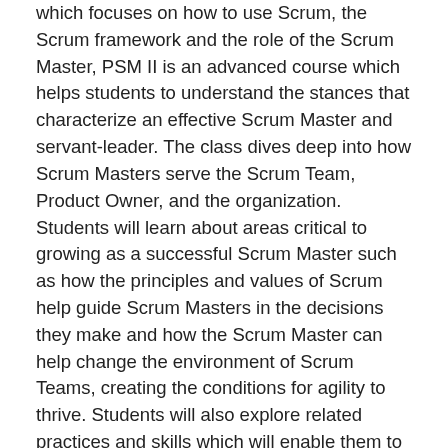which focuses on how to use Scrum, the Scrum framework and the role of the Scrum Master, PSM II is an advanced course which helps students to understand the stances that characterize an effective Scrum Master and servant-leader. The class dives deep into how Scrum Masters serve the Scrum Team, Product Owner, and the organization. Students will learn about areas critical to growing as a successful Scrum Master such as how the principles and values of Scrum help guide Scrum Masters in the decisions they make and how the Scrum Master can help change the environment of Scrum Teams, creating the conditions for agility to thrive. Students will also explore related practices and skills which will enable them to have the right types of conversations and how to apply them to become better Scrum Masters. Throughout the class, your PST will provide stor exercises, facilitation techniques (such as “Liberating Structures”), resources, and more. Students are challenged to think within the Scrum framework, the